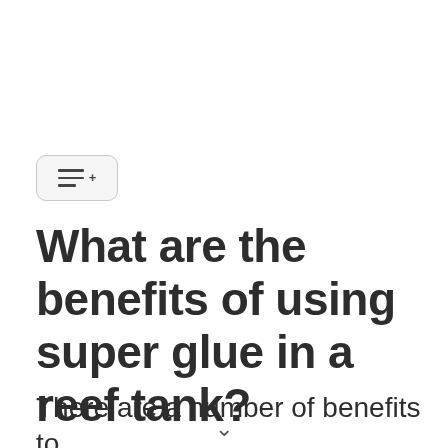[Figure (other): Table of contents / menu button icon with three horizontal lines and a plus sign, inside a rounded rectangle button]
What are the benefits of using super glue in a reef tank?
There are a number of benefits to using superglue in a reef tank.